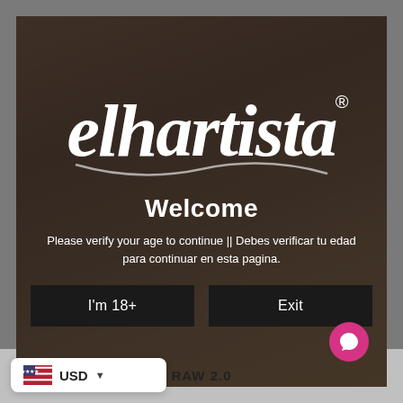[Figure (screenshot): Age verification modal popup for 'elhartista' website. Shows a script/cursive logo 'elhartista' with registered trademark symbol, over a dark-tinted photo of a woman. Contains welcome message, bilingual age verification text, and two buttons: 'I'm 18+' and 'Exit'. Bottom left shows a USD currency selector with US flag. Bottom center shows 'RAW 2.0' text. Bottom right shows a pink circular chat bubble icon.]